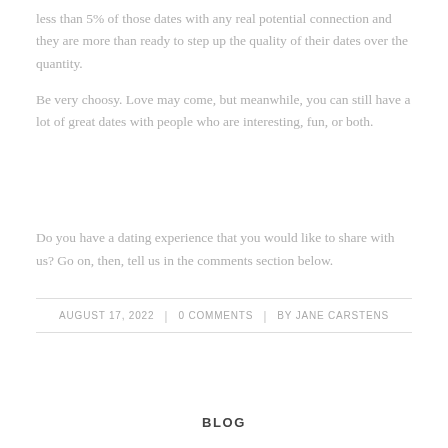less than 5% of those dates with any real potential connection and they are more than ready to step up the quality of their dates over the quantity.
Be very choosy.  Love may come, but meanwhile, you can still have a lot of great dates with people who are interesting, fun, or both.
Do you have a dating experience that you would like to share with us? Go on, then, tell us in the comments section below.
AUGUST 17, 2022 | 0 COMMENTS | BY JANE CARSTENS
BLOG